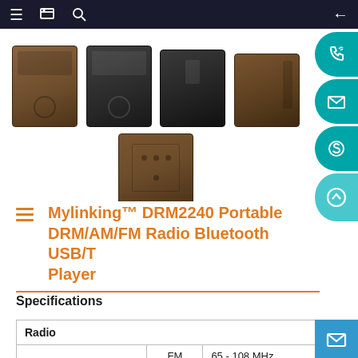[Figure (photo): Product images of Mylinking DRM2240 portable radio from multiple angles — top row: front view with brown wood finish, front view with dark finish, top view with dark finish, side/back view; bottom row: bottom view with brown wood finish showing screws.]
Mylinking™ DRM2240 Portable DRM/AM/FM Radio Bluetooth USB/T Player
Specifications
|  |  |  |
| --- | --- | --- |
| Radio |  |  |
| Frequency | FM | 65 - 108 MHz |
| Frequency | MW | 522 - 1710 |